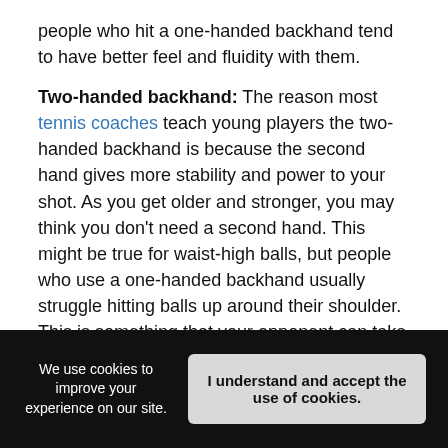people who hit a one-handed backhand tend to have better feel and fluidity with them.
Two-handed backhand: The reason most tennis coaches teach young players the two-handed backhand is because the second hand gives more stability and power to your shot. As you get older and stronger, you may think you don't need a second hand. This might be true for waist-high balls, but people who use a one-handed backhand usually struggle hitting balls up around their shoulder. This is something that your opponent can take advantage of. With a two-handed backhand you can also get away with poorly timed shots and recover more easily than you would with a one-handed backhand.
We use cookies to improve your experience on our site. | I understand and accept the use of cookies.